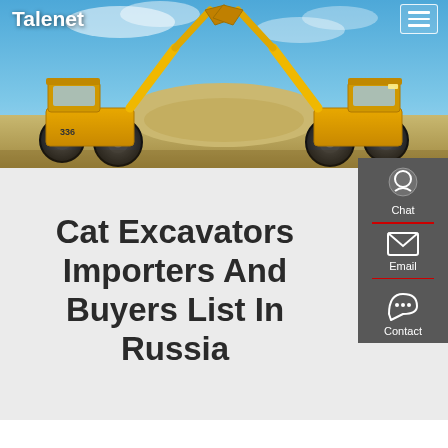Talenet
[Figure (photo): Two large yellow CAT wheel loaders / excavators facing each other with raised buckets, photographed against a blue sky with a sand mound in the background. The image serves as a hero banner for the website.]
Cat Excavators Importers And Buyers List In Russia